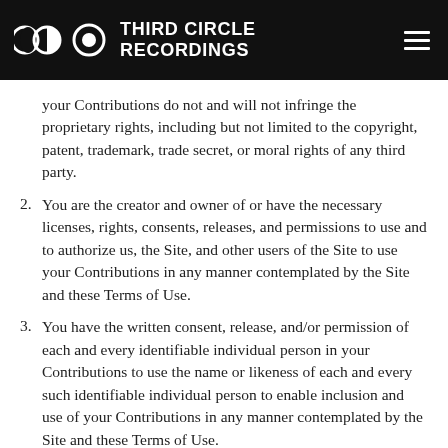THIRD CIRCLE RECORDINGS
your Contributions do not and will not infringe the proprietary rights, including but not limited to the copyright, patent, trademark, trade secret, or moral rights of any third party.
2. You are the creator and owner of or have the necessary licenses, rights, consents, releases, and permissions to use and to authorize us, the Site, and other users of the Site to use your Contributions in any manner contemplated by the Site and these Terms of Use.
3. You have the written consent, release, and/or permission of each and every identifiable individual person in your Contributions to use the name or likeness of each and every such identifiable individual person to enable inclusion and use of your Contributions in any manner contemplated by the Site and these Terms of Use.